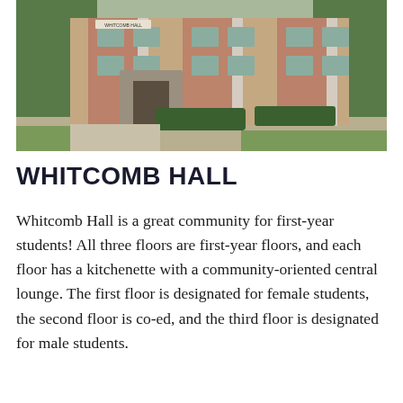[Figure (photo): Exterior photograph of Whitcomb Hall, a brick dormitory building with stone foundation and landscaping including hedges and trees.]
WHITCOMB HALL
Whitcomb Hall is a great community for first-year students! All three floors are first-year floors, and each floor has a kitchenette with a community-oriented central lounge. The first floor is designated for female students, the second floor is co-ed, and the third floor is designated for male students.